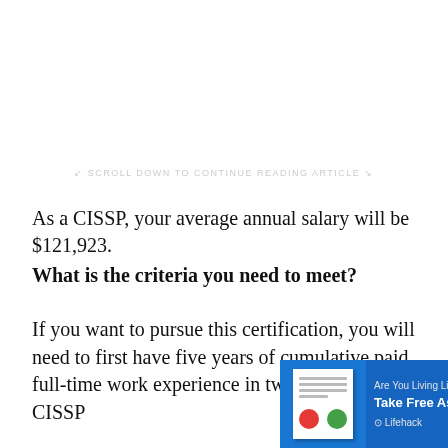↙ SCROLL DOWN TO CONTINUE READING ARTICLE ↘
As a CISSP, your average annual salary will be $121,923.
What is the criteria you need to meet?
If you want to pursue this certification, you will need to first have five years of cumulative paid full-time work experience in two of the (2 CISSP
[Figure (screenshot): Advertisement banner from Lifehack: 'Are You Living Life to the Fullest? Take Free Assessment Now' with paper/chart imagery on a blue background]